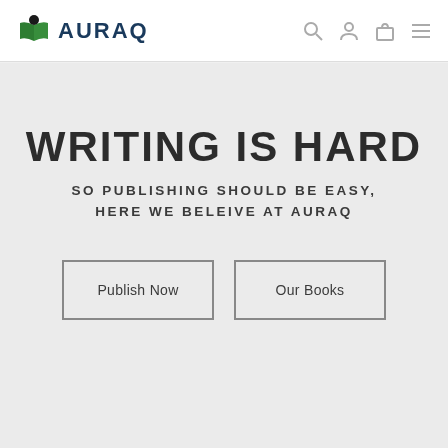AURAQ
WRITING IS HARD
SO PUBLISHING SHOULD BE EASY, HERE WE BELEIVE AT AURAQ
Publish Now
Our Books